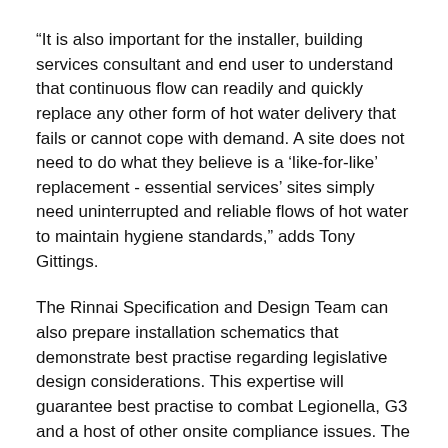“It is also important for the installer, building services consultant and end user to understand that continuous flow can readily and quickly replace any other form of hot water delivery that fails or cannot cope with demand. A site does not need to do what they believe is a ‘like-for-like’ replacement - essential services’ sites simply need uninterrupted and reliable flows of hot water to maintain hygiene standards,” adds Tony Gittings.
The Rinnai Specification and Design Team can also prepare installation schematics that demonstrate best practise regarding legislative design considerations. This expertise will guarantee best practise to combat Legionella, G3 and a host of other onsite compliance issues. The result is a high efficiency, low emission system delivering unlimited amounts of hot water.
Related links: